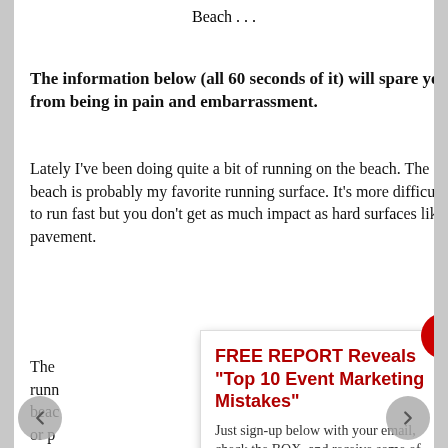Beach . . .
The information below (all 60 seconds of it) will spare you from being in pain and embarrassment.
Lately I've been doing quite a bit of running on the beach.  The beach is probably my favorite running surface.  It's more difficult to run fast but you don't get as much impact as hard surfaces like pavement.
The [partial]
runn[partial]
bead[partial]
or p[partial]
I wo[partial]
Feel[partial]
sugg[partial]
[Figure (other): Popup overlay with red close button (X). Title: FREE REPORT Reveals "Top 10 Event Marketing Mistakes". Body: Just sign-up below with your email, check the BOX, and receive some of the best event promotion advice in the known Galaxy, delivered straight to your inbox DAILY. Then BONUS text partially visible.]